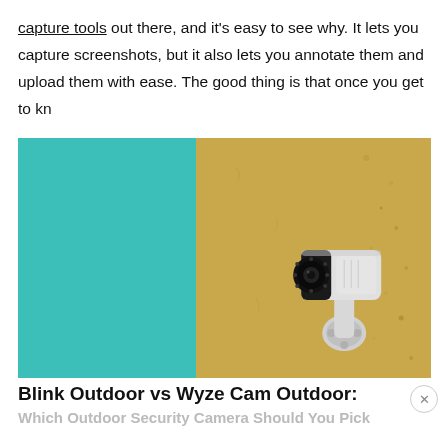capture tools out there, and it's easy to see why. It lets you capture screenshots, but it also lets you annotate them and upload them with ease. The good thing is that once you get to kn
[Figure (photo): A white outdoor security camera mounted on a wall. The wall background is split: teal/turquoise on the left half and sandy yellow/ochre on the right half. The camera is positioned on the right side of the image.]
Blink Outdoor vs Wyze Cam Outdoor:
Which Outdoor Security Camera Should You Pick